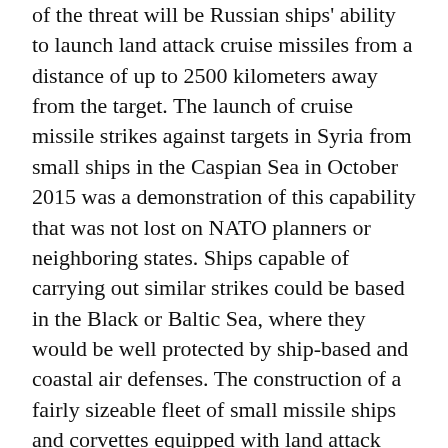of the threat will be Russian ships' ability to launch land attack cruise missiles from a distance of up to 2500 kilometers away from the target. The launch of cruise missile strikes against targets in Syria from small ships in the Caspian Sea in October 2015 was a demonstration of this capability that was not lost on NATO planners or neighboring states. Ships capable of carrying out similar strikes could be based in the Black or Baltic Sea, where they would be well protected by ship-based and coastal air defenses. The construction of a fairly sizeable fleet of small missile ships and corvettes equipped with land attack cruise missiles, combined with a strong layered coastal air defense capability, obviates to a large extent the need to build a sizeable fleet of large combat ships. Russian missile ships will be able to target most of its smaller neighbors and a large part of Europe without leaving the relative safety of enclosed seas where Russian forces are dominant.
In summary, although the Russian Navy will continue to have problems with its platforms, its offensive capabilities will be greater than they have been at any time since the height...